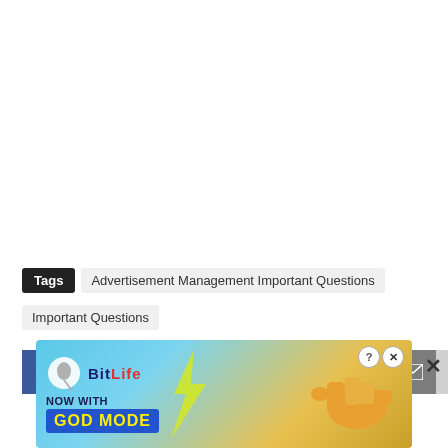Tags  Advertisement Management Important Questions  Important Questions
[Figure (screenshot): Social sharing bar with Facebook, Twitter, Reddit, Email, and More (+) buttons, plus a close (×) button]
[Figure (photo): BitLife advertisement banner: 'NOW WITH GOD MODE' with a pointing hand cartoon and BitLife logo on blue/orange background]